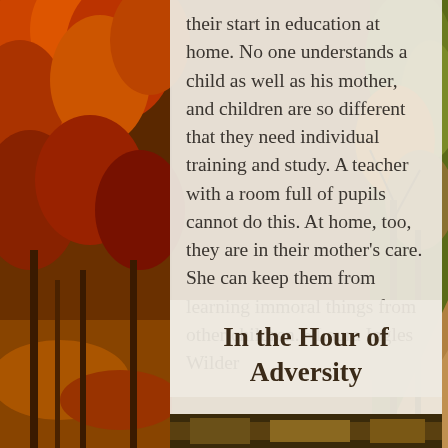[Figure (illustration): Autumn forest road background with red, orange, and green foliage on both sides]
their start in education at home. No one understands a child as well as his mother, and children are so different that they need individual training and study. A teacher with a room full of pupils cannot do this. At home, too, they are in their mother's care. She can keep them from learning immoral things from other children. ~Laura Ingles Wilder
In the Hour of Adversity
[Figure (photo): Partial photo visible at bottom of page]